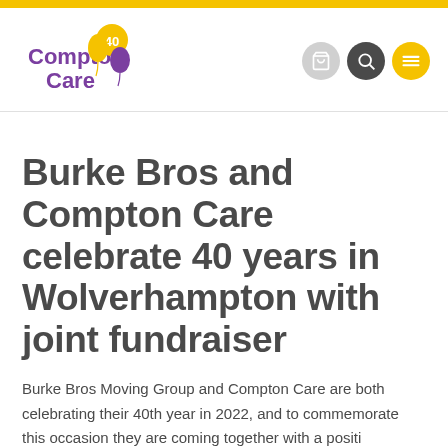[Figure (logo): Compton Care logo with '40' anniversary badge and balloons]
Burke Bros and Compton Care celebrate 40 years in Wolverhampton with joint fundraiser
Burke Bros Moving Group and Compton Care are both celebrating their 40th year in 2022, and to commemorate this occasion they are coming together with a positive...